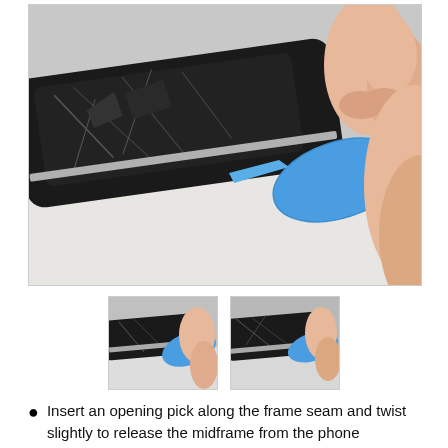[Figure (photo): Close-up photo of a hand using a blue plastic opening pick/pry tool inserted along the seam between the screen and frame of a damaged smartphone to separate the midframe.]
[Figure (photo): Thumbnail showing blue opening pick inserted at phone frame seam, fingers holding the pick.]
[Figure (photo): Thumbnail showing blue opening pick inserted further along the phone frame seam.]
Insert an opening pick along the frame seam and twist slightly to release the midframe from the phone